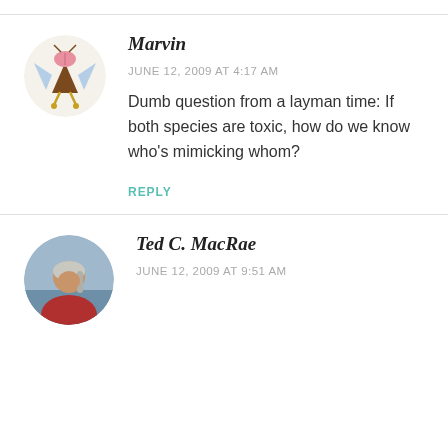[Figure (illustration): Circular avatar of Marvin: cartoon illustration of a brown insect/creature with a pink brain visible on top, blue wings, and yellow legs, on a cream background]
Marvin
JUNE 12, 2009 AT 4:17 AM
Dumb question from a layman time: If both species are toxic, how do we know who's mimicking whom?
REPLY
[Figure (photo): Circular avatar photo of Ted C. MacRae: a person with long gray/white hair pulled back, wearing a red top, photographed outdoors near water]
Ted C. MacRae
JUNE 12, 2009 AT 9:51 AM